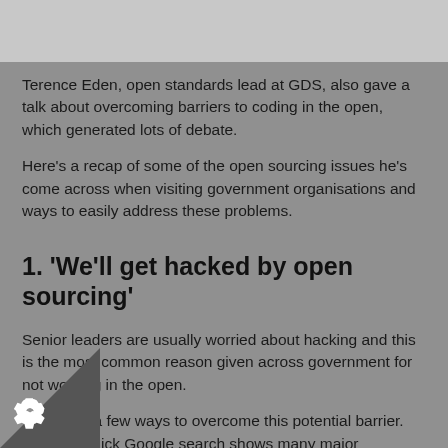Terence Eden, open standards lead at GDS, also gave a talk about overcoming barriers to coding in the open, which generated lots of debate.
Here's a recap of some of the open sourcing issues he's come across when visiting government organisations and ways to easily address these problems.
1. 'We'll get hacked by open sourcing'
Senior leaders are usually worried about hacking and this is the most common reason given across government for not working in the open.
There are a few ways to overcome this potential barrier. Firstly, a quick Google search shows many major worldwide security breaches take place because hackers exploit security flaws in closed source software.
…dly, we have government guidance that makes clear…